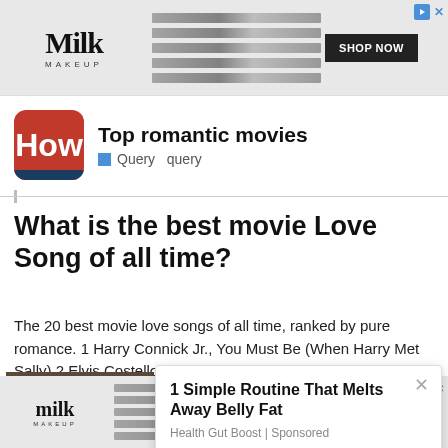[Figure (other): Milk Makeup advertisement banner with logo, product image, and SHOP NOW button]
[Figure (logo): How.com logo — red rounded rectangle with white 'How' text and blue underline, next to 'Top romantic movies' heading and Query query breadcrumb]
What is the best movie Love Song of all time?
The 20 best movie love songs of all time, ranked by pure romance. 1 Harry Connick Jr., You Must Be (When Harry Met Sally) 2 Elvis Costello Ella (Notting Hill) 3 Glen Hansard and
[Figure (photo): Thumbnail photo of a man with glasses holding a bowl of food]
1 Simple Routine That Melts Away Belly Fat
Health Gut Boost | Sponsored
[Figure (other): Milk Makeup advertisement banner at bottom with logo, product image, and SHOP NOW button]